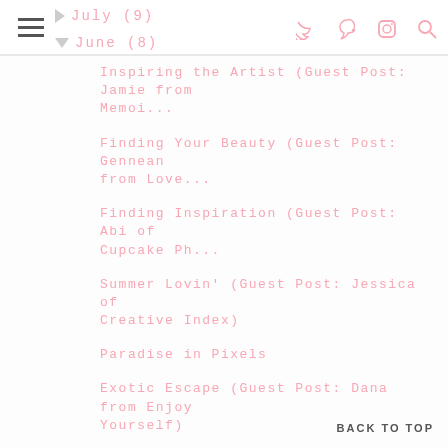July (9) | June (8)
Inspiring the Artist (Guest Post: Jamie from Memoi...
Finding Your Beauty (Guest Post: Gennean from Love...
Finding Inspiration (Guest Post: Abi of Cupcake Ph...
Summer Lovin' (Guest Post: Jessica of Creative Index)
Paradise in Pixels
Exotic Escape (Guest Post: Dana from Enjoy Yourself)
A Sneak Peek..
My Tea Transformation (Guest Post: Austria G...
BACK TO TOP